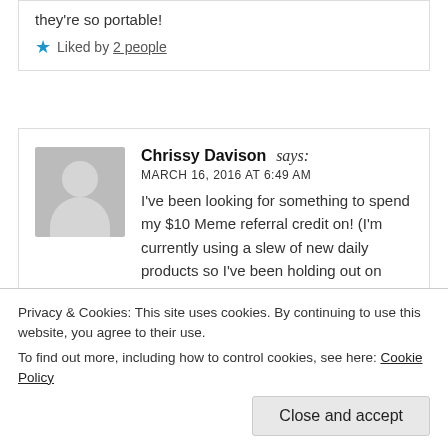they're so portable!
★ Liked by 2 people
Chrissy Davison says:
MARCH 16, 2016 AT 6:49 AM
I've been looking for something to spend my $10 Meme referral credit on! (I'm currently using a slew of new daily products so I've been holding out on introducing something new to my daily routine.) BUT I just started with Curology, so I also discontinued my AHA/BHA products from Cosrx, so this will fit the bill perfectly!
Privacy & Cookies: This site uses cookies. By continuing to use this website, you agree to their use.
To find out more, including how to control cookies, see here: Cookie Policy
Close and accept